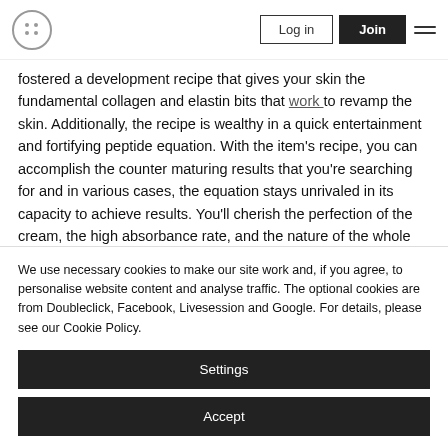Log in | Join
fostered a development recipe that gives your skin the fundamental collagen and elastin bits that work to revamp the skin. Additionally, the recipe is wealthy in a quick entertainment and fortifying peptide equation. With the item's recipe, you can accomplish the counter maturing results that you're searching for and in various cases, the equation stays unrivaled in its capacity to achieve results. You'll cherish the perfection of the cream, the high absorbance rate, and the nature of the whole item.
How Genovria Cream Provides Results
We use necessary cookies to make our site work and, if you agree, to personalise website content and analyse traffic. The optional cookies are from Doubleclick, Facebook, Livesession and Google. For details, please see our Cookie Policy.
Settings
Accept